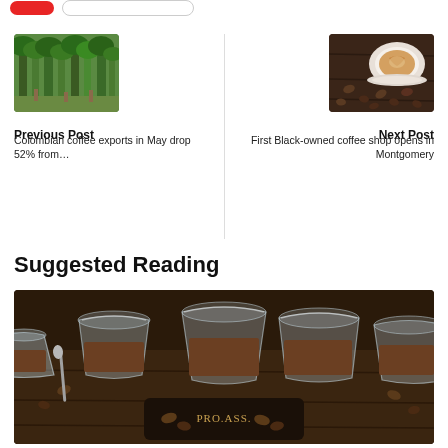[Figure (other): Red button and outline button at top]
[Figure (photo): Coffee plantation trees - previous post thumbnail]
Previous Post
Colombian coffee exports in May drop 52% from…
[Figure (photo): Coffee cup with coffee beans - next post thumbnail]
Next Post
First Black-owned coffee shop opens in Montgomery
Suggested Reading
[Figure (photo): Glass bowls filled with ground coffee on a dark wooden table]